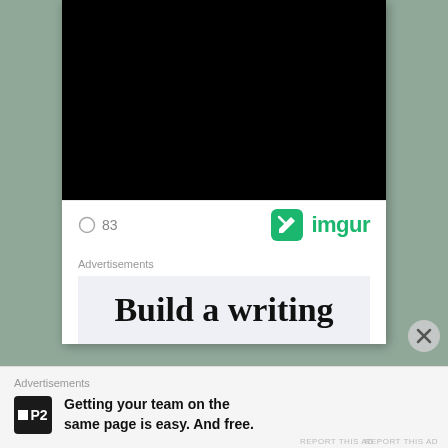[Figure (screenshot): Black image/video placeholder inside a white card]
83
[Figure (logo): Imgur logo with green icon and text 'imgur']
Advertisements
Build a writing
Advertisements
[Figure (logo): P2 logo - black square with P2 text]
Getting your team on the same page is easy. And free.